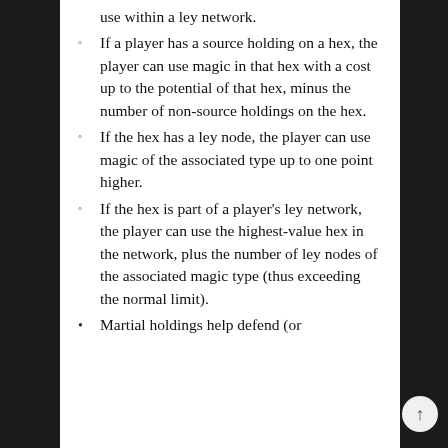use within a ley network.
If a player has a source holding on a hex, the player can use magic in that hex with a cost up to the potential of that hex, minus the number of non-source holdings on the hex.
If the hex has a ley node, the player can use magic of the associated type up to one point higher.
If the hex is part of a player’s ley network, the player can use the highest-value hex in the network, plus the number of ley nodes of the associated magic type (thus exceeding the normal limit).
Martial holdings help defend (or